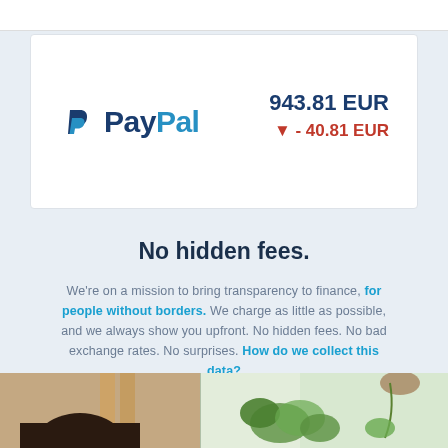[Figure (logo): PayPal logo with blue P icon and PayPal text in navy/blue]
943.81 EUR
▼ - 40.81 EUR
No hidden fees.
We're on a mission to bring transparency to finance, for people without borders. We charge as little as possible, and we always show you upfront. No hidden fees. No bad exchange rates. No surprises. How do we collect this data?
[Figure (photo): Bottom photo strip showing a person with dark hair on the left and green plants on the right with a light interior background]